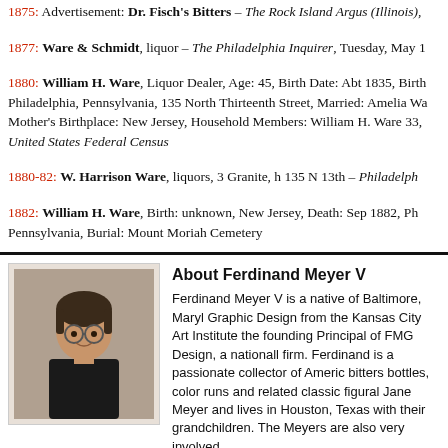1875: Advertisement: Dr. Fisch's Bitters – The Rock Island Argus (Illinois),
1877: Ware & Schmidt, liquor – The Philadelphia Inquirer, Tuesday, May 1
1880: William H. Ware, Liquor Dealer, Age: 45, Birth Date: Abt 1835, Birth Philadelphia, Pennsylvania, 135 North Thirteenth Street, Married: Amelia Wa Mother's Birthplace: New Jersey, Household Members: William H. Ware 33, United States Federal Census
1880-82: W. Harrison Ware, liquors, 3 Granite, h 135 N 13th – Philadelph
1882: William H. Ware, Birth: unknown, New Jersey, Death: Sep 1882, Ph Pennsylvania, Burial: Mount Moriah Cemetery
About Ferdinand Meyer V
Ferdinand Meyer V is a native of Baltimore, Maryl Graphic Design from the Kansas City Art Institute the founding Principal of FMG Design, a nationall firm. Ferdinand is a passionate collector of Americ bitters bottles, color runs and related classic figural Jane Meyer and lives in Houston, Texas with their grandchildren. The Meyers are also very involved